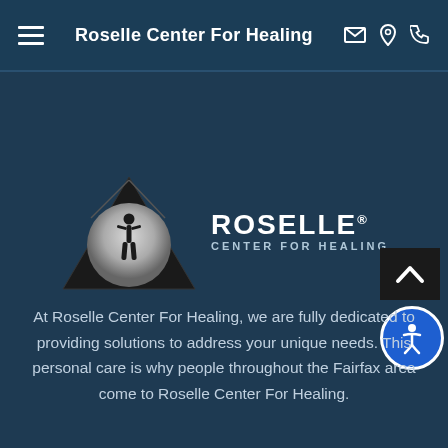Roselle Center For Healing
[Figure (logo): Roselle Center for Healing logo: a triangle shape with a circle containing a human body silhouette, next to the text ROSELLE CENTER FOR HEALING]
At Roselle Center For Healing, we are fully dedicated to providing solutions to address your unique needs. This personal care is why people throughout the Fairfax area come to Roselle Center For Healing.